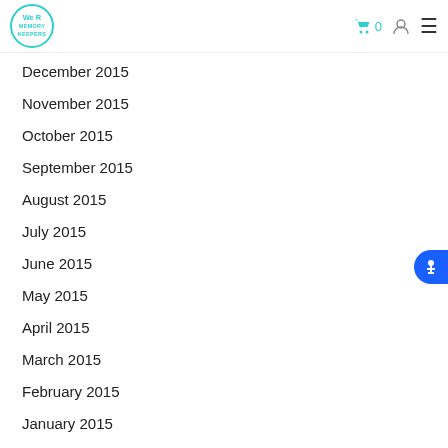We R Memory Keepers logo, cart (0), account, menu
December 2015
November 2015
October 2015
September 2015
August 2015
July 2015
June 2015
May 2015
April 2015
March 2015
February 2015
January 2015
December 2014